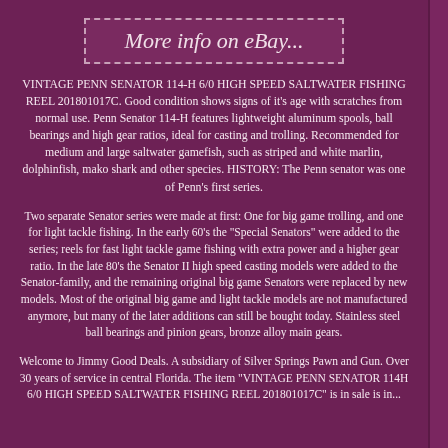More info on eBay...
VINTAGE PENN SENATOR 114-H 6/0 HIGH SPEED SALTWATER FISHING REEL 201801017C. Good condition shows signs of it's age with scratches from normal use. Penn Senator 114-H features lightweight aluminum spools, ball bearings and high gear ratios, ideal for casting and trolling. Recommended for medium and large saltwater gamefish, such as striped and white marlin, dolphinfish, mako shark and other species. HISTORY: The Penn senator was one of Penn's first series.
Two separate Senator series were made at first: One for big game trolling, and one for light tackle fishing. In the early 60's the "Special Senators" were added to the series; reels for fast light tackle game fishing with extra power and a higher gear ratio. In the late 80's the Senator II high speed casting models were added to the Senator-family, and the remaining original big game Senators were replaced by new models. Most of the original big game and light tackle models are not manufactured anymore, but many of the later additions can still be bought today. Stainless steel ball bearings and pinion gears, bronze alloy main gears.
Welcome to Jimmy Good Deals. A subsidiary of Silver Springs Pawn and Gun. Over 30 years of service in central Florida. The item "VINTAGE PENN SENATOR 114H 6/0 HIGH SPEED SALTWATER FISHING REEL 201801017C" is in sale is in...